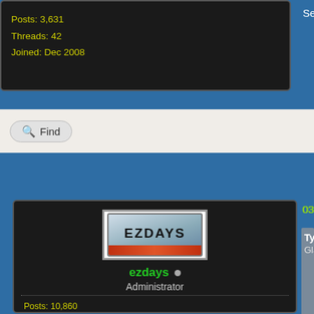Posts: 3,631
Threads: 42
Joined: Dec 2008
Sent from my pocket calculator using two ti…
Find
03-13-2022, 06:21 AM
Tyson Rayles Wrote: →
Glad to hear his recovery is going well. that when I was going thru chemo. The cover it so no expense either.
ezdays · Administrator
Posts: 10,860
Threads: 538
Joined: Nov 2008
You are right, showing lots of bruises and for around ten years and I told his wife to do, I'm just a bit more careful around sha your INR is in range.
Thanks again everyone for their prayers improving, but sleeping a lot. Quite unde…